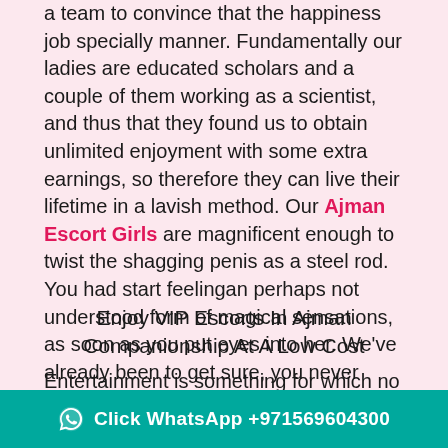a team to convince that the happiness job specially manner. Fundamentally our ladies are educated scholars and a couple of them working as a scientist, and thus that they found us to obtain unlimited enjoyment with some extra earnings, so therefore they can live their lifetime in a lavish method. Our Ajman Escort Girls are magnificent enough to twist the shagging penis as a steel rod. You had start feelingan perhaps not understood form of magical sensations, as soon as you put eyes into her. We've already been to get sure, you never seen a miracle such as her into your lifetime.
Enjoy VIP Escorts In Ajman Companionship At A Low Cost
Entertainment is something for which no elite man is found worrying about the expenses. And we at our agency service make sure our hot Escorts In Ajman gives our clients a feeling so special, they are bound to visit us every second day. It is because of the warm
Click WhatsApp +971569604300